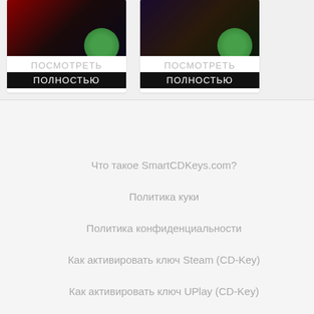[Figure (screenshot): Two game thumbnail cards side by side, each with a game image, 'ПОСМОТРЕТЬ' text, and 'ПОЛНОСТЬЮ' label on a black bar]
Что такое SmartCDKeys.com?
Политика куки
Политика конфиденциальности
Как активировать ключ Steam (CD-Key)
Как активировать ключ UPlay (CD-Key)
Как активировать ключ Origin (CD-Key)